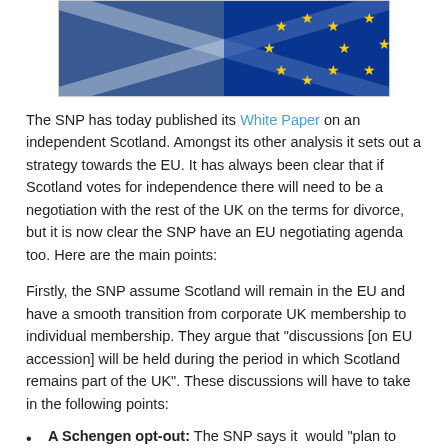[Figure (photo): Photo showing overlapping Scottish and EU flags, with blue background and yellow EU stars visible]
The SNP has today published its White Paper on an independent Scotland. Amongst its other analysis it sets out a strategy towards the EU. It has always been clear that if Scotland votes for independence there will need to be a negotiation with the rest of the UK on the terms for divorce, but it is now clear the SNP have an EU negotiating agenda too. Here are the main points:
Firstly, the SNP assume Scotland will remain in the EU and have a smooth transition from corporate UK membership to individual membership. They argue that "discussions [on EU accession] will be held during the period in which Scotland remains part of the UK". These discussions will have to take in the following points:
A Schengen opt-out: The SNP says it would "plan to continue in the current Common Travel Area" with the rest of the UK. As signing up to